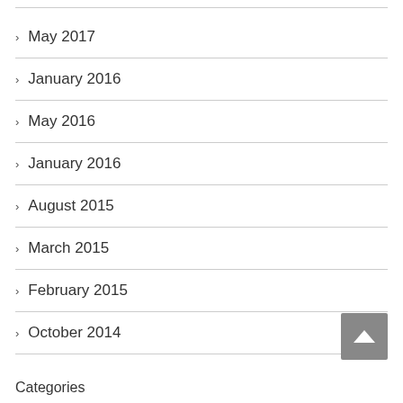May 2017
January 2016
May 2016
January 2016
August 2015
March 2015
February 2015
October 2014
Categories